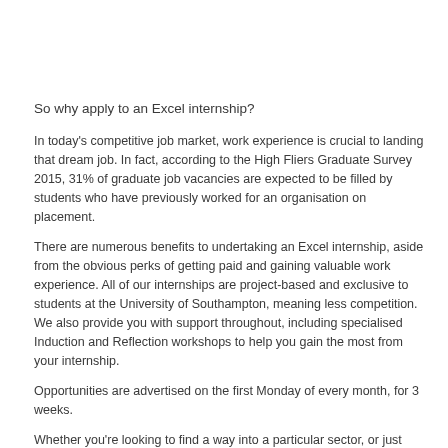So why apply to an Excel internship?
In today’s competitive job market, work experience is crucial to landing that dream job. In fact, according to the High Fliers Graduate Survey 2015, 31% of graduate job vacancies are expected to be filled by students who have previously worked for an organisation on placement.
There are numerous benefits to undertaking an Excel internship, aside from the obvious perks of getting paid and gaining valuable work experience. All of our internships are project-based and exclusive to students at the University of Southampton, meaning less competition. We also provide you with support throughout, including specialised Induction and Reflection workshops to help you gain the most from your internship.
Opportunities are advertised on the first Monday of every month, for 3 weeks.
Whether you’re looking to find a way into a particular sector, or just want to try out some career ideas, we have something for everyone! Thinking about applying? Check out our website for more details:
www.southampton.ac.uk/careers/internships